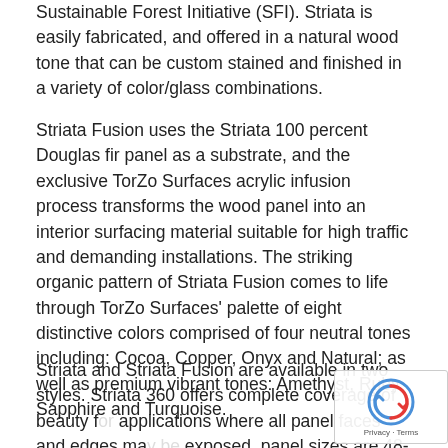Sustainable Forest Initiative (SFI). Striata is easily fabricated, and offered in a natural wood tone that can be custom stained and finished in a variety of color/glass combinations.
Striata Fusion uses the Striata 100 percent Douglas fir panel as a substrate, and the exclusive TorZo Surfaces acrylic infusion process transforms the wood panel into an interior surfacing material suitable for high traffic and demanding installations. The striking organic pattern of Striata Fusion comes to life through TorZo Surfaces' palette of eight distinctive colors comprised of four neutral tones including: Cocoa, Copper, Onyx and Natural; as well as premium vibrant tones: Amethyst, Ruby, Sapphire and Turquoise.
Striata and Striata Fusion are available in two styles. Striata 360 offers complete coverage of beauty for applications where all panel faces and edges may be exposed, panel sizes are 48-inches by 96-inches and